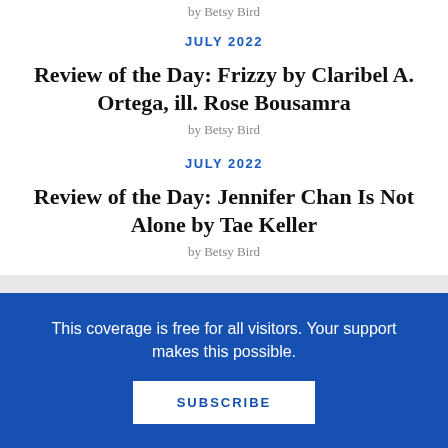by Betsy Bird
JULY 2022
Review of the Day: Frizzy by Claribel A. Ortega, ill. Rose Bousamra
by Betsy Bird
JULY 2022
Review of the Day: Jennifer Chan Is Not Alone by Tae Keller
by Betsy Bird
This coverage is free for all visitors. Your support makes this possible.
SUBSCRIBE